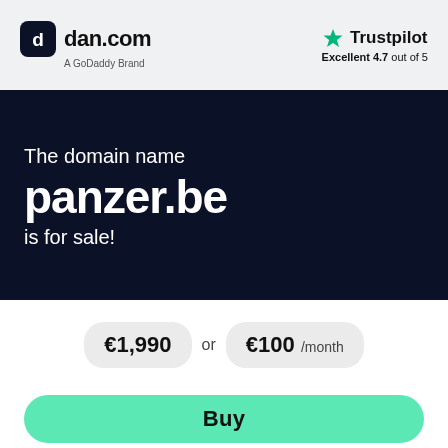[Figure (logo): dan.com logo — rounded square icon with 'dan.com' text and 'A GoDaddy Brand' subtitle]
[Figure (logo): Trustpilot logo with green star and 'Excellent 4.7 out of 5' rating]
The domain name
panzer.be
is for sale!
€1,990 or €100 /month
Buy